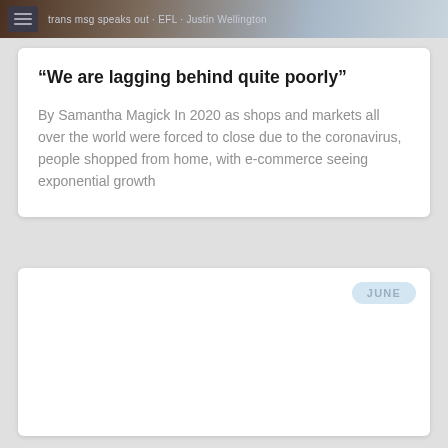[Figure (screenshot): Top navigation bar strip with dark icon box and light text reading 'trans msg speaks out · EFL · Justin Wellington']
“We are lagging behind quite poorly”
By Samantha Magick In 2020 as shops and markets all over the world were forced to close due to the coronavirus, people shopped from home, with e-commerce seeing exponential growth
JUNE